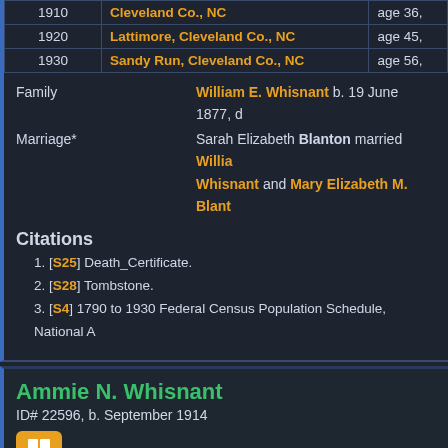| Year | Location | Detail |
| --- | --- | --- |
| 1910 | Cleveland Co., NC | age 36, |
| 1920 | Lattimore, Cleveland Co., NC | age 45, |
| 1930 | Sandy Run, Cleveland Co., NC | age 56, |
Family: William E. Whisnant b. 19 June 1877, d.
Marriage*: Sarah Elizabeth Blanton married William Whisnant and Mary Elizabeth M. Blanto
Citations
[S25] Death_Certificate.
[S28] Tombstone.
[S4] 1790 to 1930 Federal Census Population Schedule, National A
Ammie N. Whisnant
ID# 22596, b. September 1914
Father*: John Monroe Whisnant b. 23 Nov 1875
Mother*: Julie Elizabeth Greene b. 8 Aug 1881, d.
Birth*: Ammie N. Whisnant was born in Septem